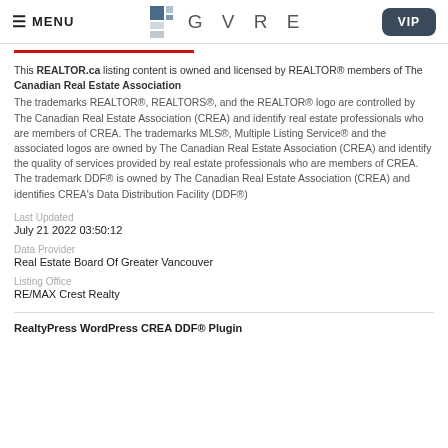MENU | GVRE | VIP
This REALTOR.ca listing content is owned and licensed by REALTOR® members of The Canadian Real Estate Association
The trademarks REALTOR®, REALTORS®, and the REALTOR® logo are controlled by The Canadian Real Estate Association (CREA) and identify real estate professionals who are members of CREA. The trademarks MLS®, Multiple Listing Service® and the associated logos are owned by The Canadian Real Estate Association (CREA) and identify the quality of services provided by real estate professionals who are members of CREA. The trademark DDF® is owned by The Canadian Real Estate Association (CREA) and identifies CREA's Data Distribution Facility (DDF®)
Last Updated
July 21 2022 03:50:12
Data Provider
Real Estate Board Of Greater Vancouver
Listing Office
RE/MAX Crest Realty
RealtyPress WordPress CREA DDF® Plugin